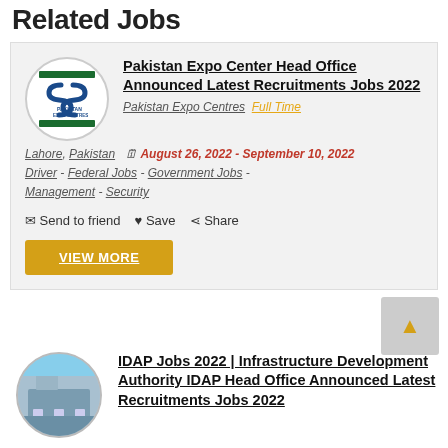Related Jobs
Pakistan Expo Center Head Office Announced Latest Recruitments Jobs 2022 — Pakistan Expo Centres | Full Time | Lahore, Pakistan | August 26, 2022 - September 10, 2022 | Driver - Federal Jobs - Government Jobs - Management - Security
Send to friend  Save  Share
VIEW MORE
IDAP Jobs 2022 | Infrastructure Development Authority IDAP Head Office Announced Latest Recruitments Jobs 2022